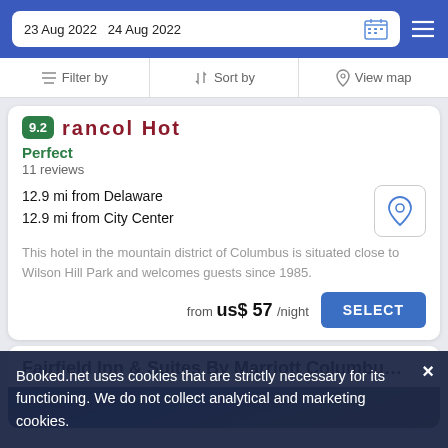23 Aug 2022  24 Aug 2022
Filter by | Sort by | View map
9.2
Perfect
11 reviews
12.9 mi from Delaware
12.9 mi from City Center
This hotel in the mountain district of Columbus is situated close to Wilson Hill Park and welcomes guests since 1985.
from  us$ 57/night
SELECT
Fairfield Inn & Suites By Marriott Columbu…
Booked.net uses cookies that are strictly necessary for its functioning. We do not collect analytical and marketing cookies.